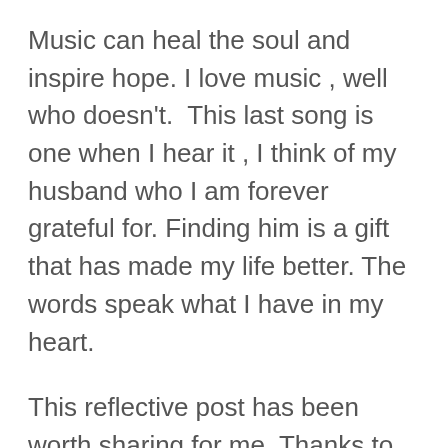Music can heal the soul and inspire hope. I love music , well who doesn't.  This last song is one when I hear it , I think of my husband who I am forever grateful for. Finding him is a gift that has made my life better. The words speak what I have in my heart.
This reflective post has been worth sharing for me. Thanks to Maureen Crawford for inspiring this post.